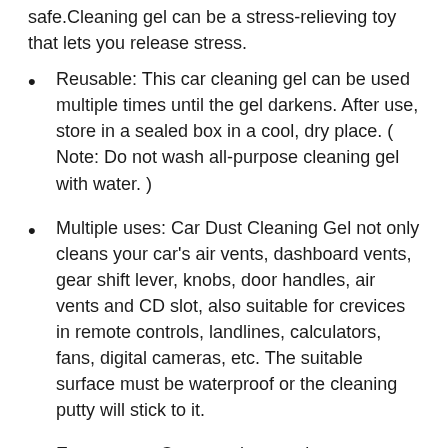safe.Cleaning gel can be a stress-relieving toy that lets you release stress.
Reusable: This car cleaning gel can be used multiple times until the gel darkens. After use, store in a sealed box in a cool, dry place. ( Note: Do not wash all-purpose cleaning gel with water. )
Multiple uses: Car Dust Cleaning Gel not only cleans your car's air vents, dashboard vents, gear shift lever, knobs, door handles, air vents and CD slot, also suitable for crevices in remote controls, landlines, calculators, fans, digital cameras, etc. The suitable surface must be waterproof or the cleaning putty will stick to it.
Easy to use: Compared to regular car cleaning tools, this car cleaning gel is softer and easier to clean dirt from crevices in your car. First, take a small piece of gel and knead it before use, then slowly press the cleaning gel